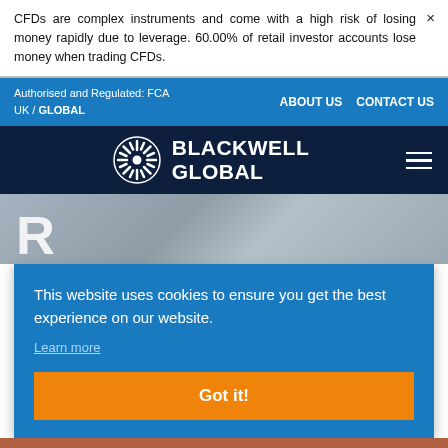CFDs are complex instruments and come with a high risk of losing money rapidly due to leverage. 60.00% of retail investor accounts lose money when trading CFDs.
Authorised and Regulated: FCA | UK / GLOBAL | ABOUT US | CONTACT US
BLACKWELL GLOBAL
This website uses cookies to ensure you get the best experience on our website. Learn more
Got it!